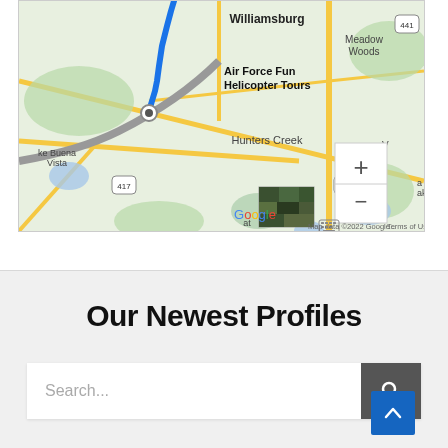[Figure (map): Google Maps screenshot showing Air Force Fun Helicopter Tours location near Williamsburg, Hunters Creek, Meadow Woods, Lake Buena Vista areas in Orlando FL. Blue route line shown. Map data ©2022 Google. Terms of Use visible.]
Our Newest Profiles